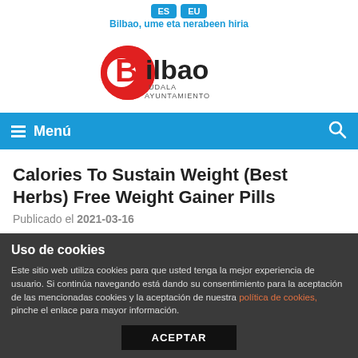ES EU Bilbao, ume eta nerabeen hiria
[Figure (logo): Bilbao Udala Ayuntamiento logo with red oval containing B and text Bilbao]
Menú
Calories To Sustain Weight (Best Herbs) Free Weight Gainer Pills
Publicado el 2021-03-16
Uso de cookies
Este sitio web utiliza cookies para que usted tenga la mejor experiencia de usuario. Si continúa navegando está dando su consentimiento para la aceptación de las mencionadas cookies y la aceptación de nuestra política de cookies, pinche el enlace para mayor información.
ACEPTAR